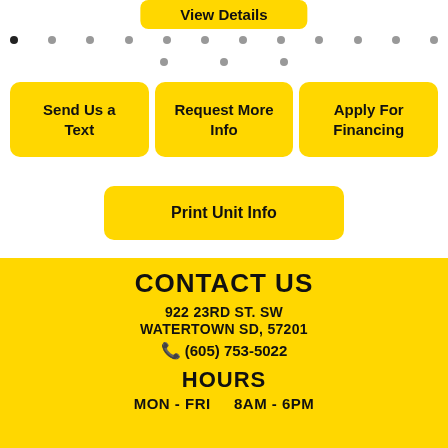View Details
Send Us a Text
Request More Info
Apply For Financing
Print Unit Info
CONTACT US
922 23RD ST. SW
WATERTOWN SD, 57201
(605) 753-5022
HOURS
MON - FRI   8AM - 6PM